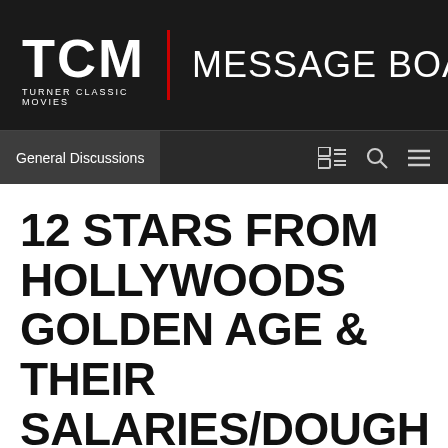TCM | MESSAGE BOARDS
General Discussions
12 STARS FROM HOLLYWOODS GOLDEN AGE & THEIR SALARIES/DOUGH MADE!$$$
By spencerl964,